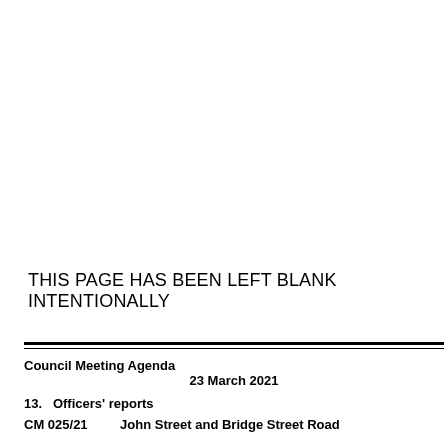THIS PAGE HAS BEEN LEFT BLANK INTENTIONALLY
Council Meeting Agenda
23 March 2021
13. Officers' reports
CM 025/21     John Street and Bridge Street Road